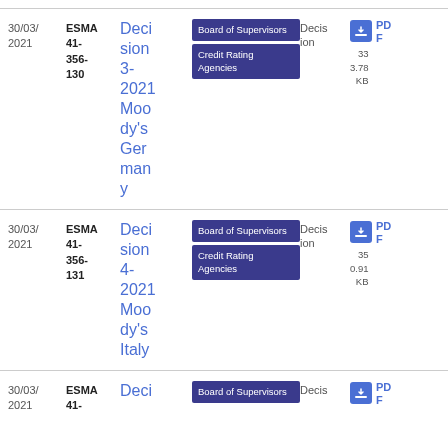| Date | Reference | Title | Tags | Type | File |
| --- | --- | --- | --- | --- | --- |
| 30/03/2021 | ESMA 41-356-130 | Decision 3-2021 Moody's Germany | Board of Supervisors, Credit Rating Agencies | Decision | PDF 33 3.78 KB |
| 30/03/2021 | ESMA 41-356-131 | Decision 4-2021 Moody's Italy | Board of Supervisors, Credit Rating Agencies | Decision | PDF 35 0.91 KB |
| 30/03/2021 | ESMA 41-... | Deci... | Board of Supervisors | Decis... | PDF |